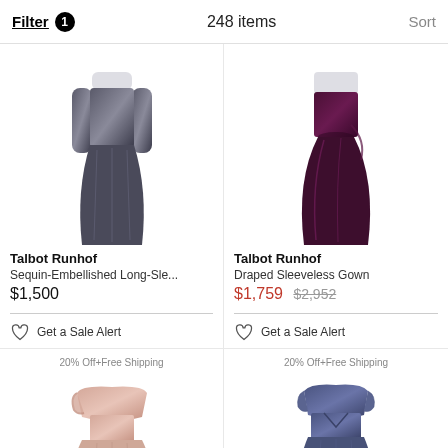Filter 1   248 items   Sort
[Figure (photo): Talbot Runhof Sequin-Embellished Long-Sleeve metallic dark gown photo]
Talbot Runhof
Sequin-Embellished Long-Sle...
$1,500
Get a Sale Alert
[Figure (photo): Talbot Runhof Draped Sleeveless Gown dark purple photo]
Talbot Runhof
Draped Sleeveless Gown
$1,759  $2,952
Get a Sale Alert
20% Off+Free Shipping
[Figure (photo): Blush/nude off-shoulder draped gown photo]
20% Off+Free Shipping
[Figure (photo): Dark blue/navy off-shoulder cap sleeve gown photo]